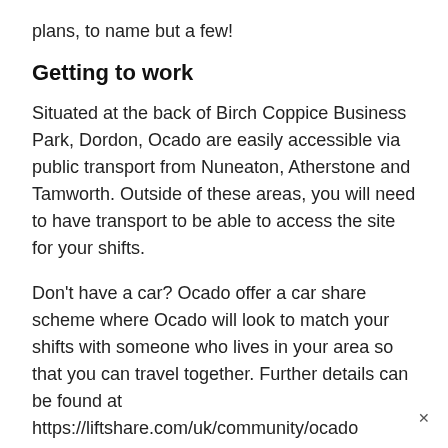plans, to name but a few!
Getting to work
Situated at the back of Birch Coppice Business Park, Dordon, Ocado are easily accessible via public transport from Nuneaton, Atherstone and Tamworth. Outside of these areas, you will need to have transport to be able to access the site for your shifts.
Don't have a car? Ocado offer a car share scheme where Ocado will look to match your shifts with someone who lives in your area so that you can travel together. Further details can be found at https://liftshare.com/uk/community/ocado